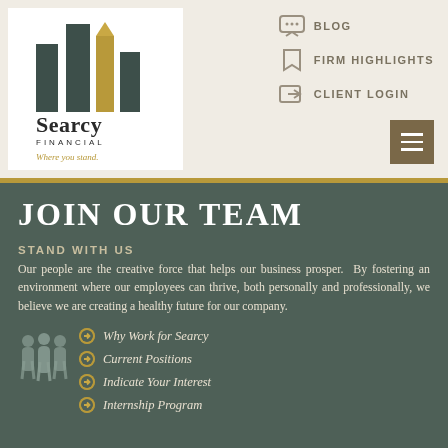[Figure (logo): Searcy Financial logo with abstract building silhouette in dark grey and gold, text 'Searcy FINANCIAL Where you stand.']
BLOG  FIRM HIGHLIGHTS  CLIENT LOGIN
JOIN OUR TEAM
STAND WITH US
Our people are the creative force that helps our business prosper.  By fostering an environment where our employees can thrive, both personally and professionally, we believe we are creating a healthy future for our company.
Why Work for Searcy
Current Positions
Indicate Your Interest
Internship Program